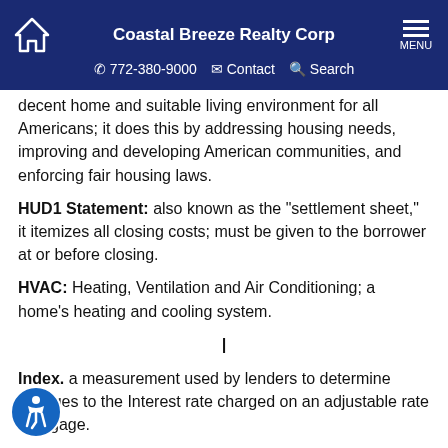Coastal Breeze Realty Corp | 772-380-9000 | Contact | Search | MENU
decent home and suitable living environment for all Americans; it does this by addressing housing needs, improving and developing American communities, and enforcing fair housing laws.
HUD1 Statement: also known as the "settlement sheet," it itemizes all closing costs; must be given to the borrower at or before closing.
HVAC: Heating, Ventilation and Air Conditioning; a home's heating and cooling system.
I
Index. a measurement used by lenders to determine changes to the Interest rate charged on an adjustable rate mortgage.
Inflation: the number of dollars in circulation exceeds the amount of goods and services available for purchase;